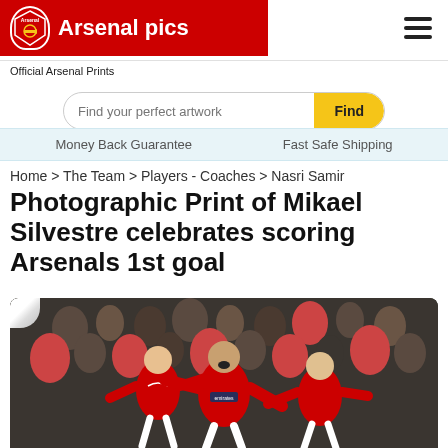Arsenal pics — Official Arsenal Prints
Find your perfect artwork
Money Back Guarantee    Fast Safe Shipping
Home > The Team > Players - Coaches > Nasri Samir
Photographic Print of Mikael Silvestre celebrates scoring Arsenals 1st goal
[Figure (photo): Arsenal players in red shirts celebrating a goal, Mikael Silvestre in the centre celebrating with teammates, crowd of supporters visible in the background]